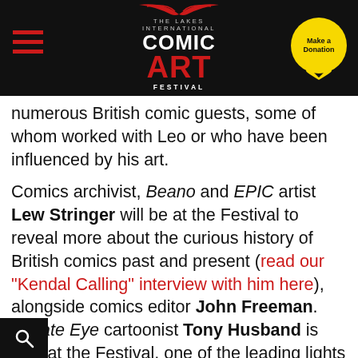[Figure (logo): The Lakes International Comic Art Festival logo in white and red on black background, with hamburger menu icon on left and yellow heart-shaped Make a Donation button on right]
numerous British comic guests, some of whom worked with Leo or who have been influenced by his art.
Comics archivist, Beano and EPIC artist Lew Stringer will be at the Festival to reveal more about the curious history of British comics past and present (read our "Kendal Calling" interview with him here), alongside comics editor John Freeman. Private Eye cartoonist Tony Husband is also at the Festival, one of the leading lights in the fondly-remembered weekly comic Oink!, a e much inspired by the anarchy of The sh Street Kids in the 1980s.